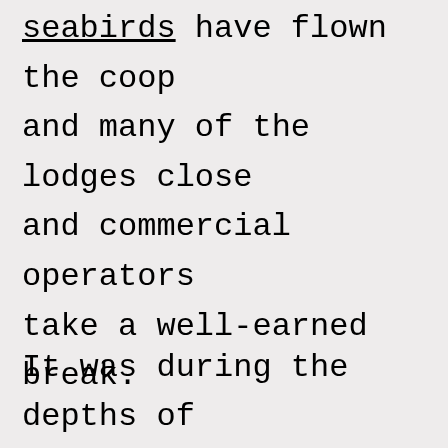seabirds have flown the coop and many of the lodges close and commercial operators take a well-earned break.
It was during the depths of